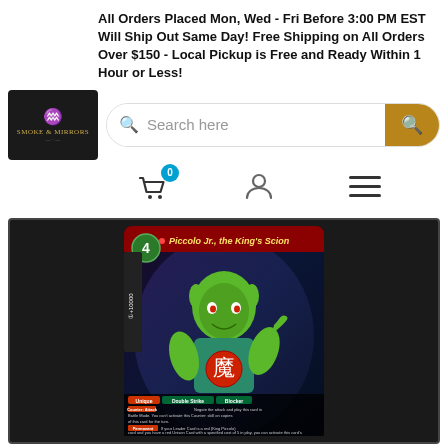All Orders Placed Mon, Wed - Fri Before 3:00 PM EST Will Ship Out Same Day! Free Shipping on All Orders Over $150 - Local Pickup is Free and Ready Within 1 Hour or Less!
[Figure (logo): Smoke & Mirrors logo on dark background with crown/crest icon]
Search here
[Figure (screenshot): Dragon Ball Super card: Piccolo Jr., the King's Scion. Cost 4. Power +10000. Unique, Double Strike, Blocker abilities. Counter: Attack to negate attack. Permanent ability related to Leader Card being red King Piccolo card.]